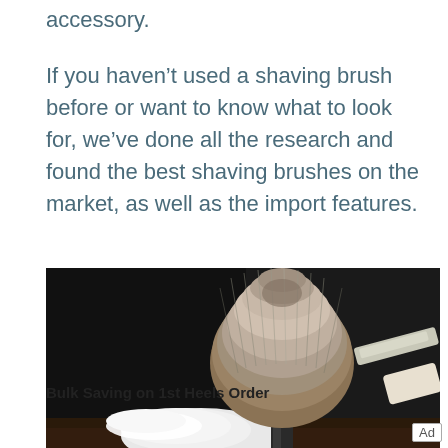accessory.
If you haven't used a shaving brush before or want to know what to look for, we've done all the research and found the best shaving brushes on the market, as well as the import features.
[Figure (photo): Photo of a shaving brush with white foam/lather and a straight razor on a dark background, with a green 'LEARN MORE' button overlay and ad controls]
Bulk Saving on 1st Heels Order
Ad